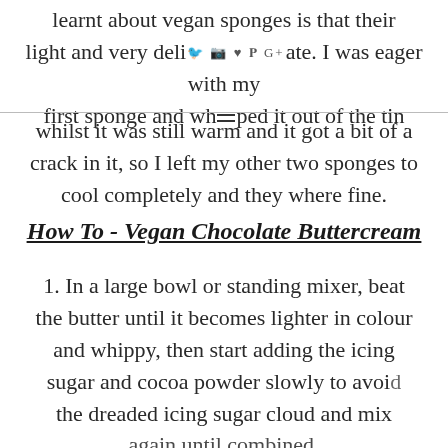learnt about vegan sponges is that their light and very delicate. I was eager with my first sponge and whipped it out of the tin whilst it was still warm and it got a bit of a crack in it, so I left my other two sponges to cool completely and they where fine.
How To - Vegan Chocolate Buttercream
1. In a large bowl or standing mixer, beat the butter until it becomes lighter in colour and whippy, then start adding the icing sugar and cocoa powder slowly to avoid the dreaded icing sugar cloud and mix again until combined.